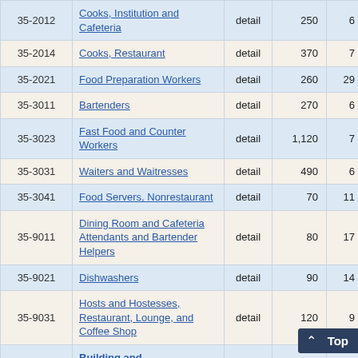| Code | Occupation | Type | Value1 | Value2 |
| --- | --- | --- | --- | --- |
| 35-2012 | Cooks, Institution and Cafeteria | detail | 250 | 6 |
| 35-2014 | Cooks, Restaurant | detail | 370 | 7 |
| 35-2021 | Food Preparation Workers | detail | 260 | 29 |
| 35-3011 | Bartenders | detail | 270 | 6 |
| 35-3023 | Fast Food and Counter Workers | detail | 1,120 | 7 |
| 35-3031 | Waiters and Waitresses | detail | 490 | 6 |
| 35-3041 | Food Servers, Nonrestaurant | detail | 70 | 11 |
| 35-9011 | Dining Room and Cafeteria Attendants and Bartender Helpers | detail | 80 | 17 |
| 35-9021 | Dishwashers | detail | 90 | 14 |
| 35-9031 | Hosts and Hostesses, Restaurant, Lounge, and Coffee Shop | detail | 120 | 9 |
|  | Building and Ground Cleaning… |  |  |  |